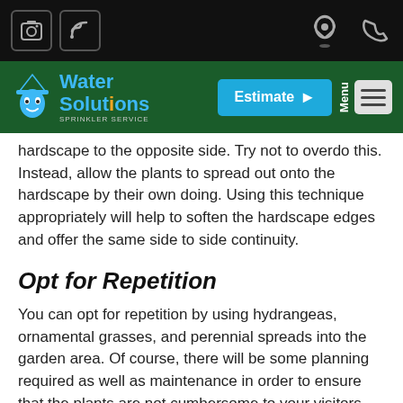[Figure (screenshot): Top black navigation bar with camera icon, RSS feed icon on left, and location pin icon, phone icon on right]
[Figure (logo): Water Solutions Sprinkler Service logo with blue text and cartoon water droplet mascot, green background nav bar with Estimate button and hamburger menu]
hardscape to the opposite side. Try not to overdo this. Instead, allow the plants to spread out onto the hardscape by their own doing. Using this technique appropriately will help to soften the hardscape edges and offer the same side to side continuity.
Opt for Repetition
You can opt for repetition by using hydrangeas, ornamental grasses, and perennial spreads into the garden area. Of course, there will be some planning required as well as maintenance in order to ensure that the plants are not cumbersome to your visitors nor do they appear to be overgrown. In the same manner, boulders can be used to slightly overlap the walkway for